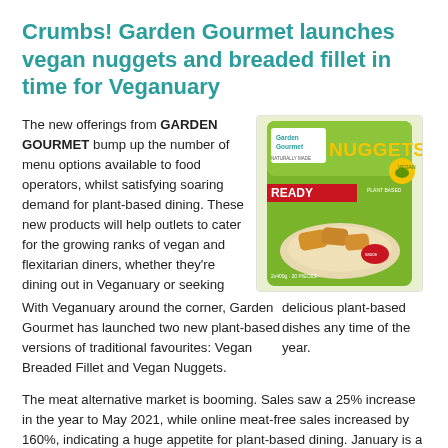Crumbs! Garden Gourmet launches vegan nuggets and breaded fillet in time for Veganuary
With Veganuary around the corner, Garden Gourmet has launched two new plant-based versions of traditional favourites: Vegan Breaded Fillet and Vegan Nuggets.
[Figure (photo): Photo of Garden Gourmet Vegan Nuggets product packaging — a green bag with the brand logo, the word NUGGETS prominently displayed, and an image of nuggets on a plate with dipping sauce.]
The new offerings from GARDEN GOURMET bump up the number of menu options available to food operators, whilst satisfying soaring demand for plant-based dining. These new products will help outlets to cater for the growing ranks of vegan and flexitarian diners, whether they're dining out in Veganuary or seeking delicious plant-based dishes any time of the year.
The meat alternative market is booming. Sales saw a 25% increase in the year to May 2021, while online meat-free sales increased by 160%, indicating a huge appetite for plant-based dining. January is a big month for plant-based dining – serving